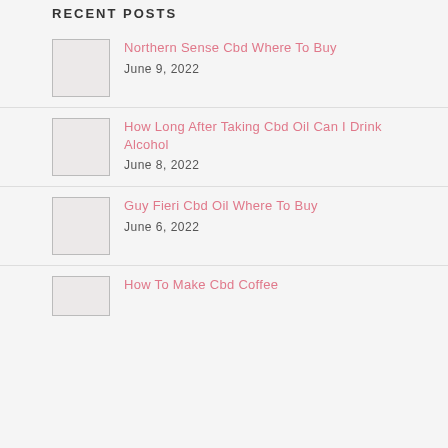RECENT POSTS
Northern Sense Cbd Where To Buy
June 9, 2022
How Long After Taking Cbd Oil Can I Drink Alcohol
June 8, 2022
Guy Fieri Cbd Oil Where To Buy
June 6, 2022
How To Make Cbd Coffee